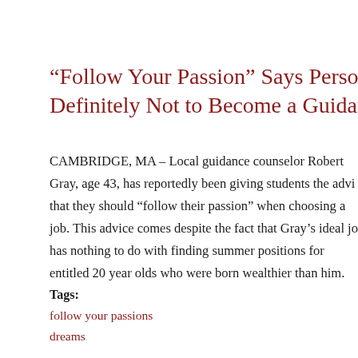“Follow Your Passion” Says Person Wh… Definitely Not to Become a Guidance…
CAMBRIDGE, MA – Local guidance counselor Robert Gray, age 43, has reportedly been giving students the advi… that they should “follow their passion” when choosing a job. This advice comes despite the fact that Gray’s ideal jo… has nothing to do with finding summer positions for entitled 20 year olds who were born wealthier than him.
Tags:
follow your passions
dreams